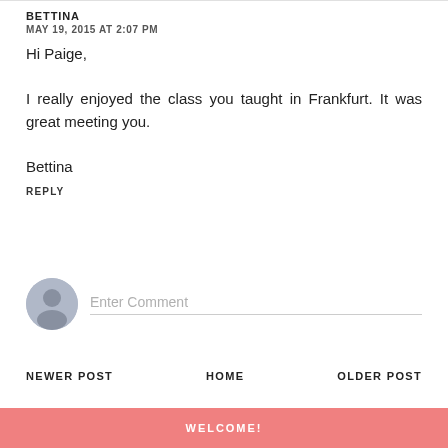BETTINA
MAY 19, 2015 AT 2:07 PM
Hi Paige,

I really enjoyed the class you taught in Frankfurt. It was great meeting you.

Bettina
REPLY
[Figure (illustration): User avatar icon — grey circle with silhouette person figure]
Enter Comment
NEWER POST
HOME
OLDER POST
WELCOME!